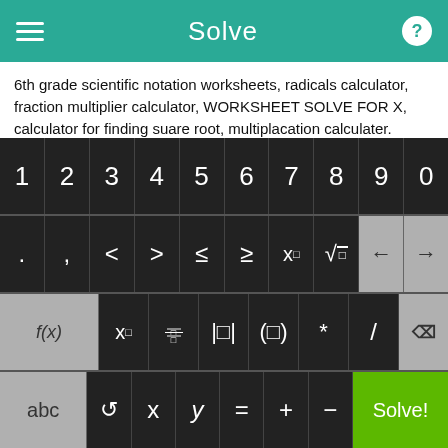Solve
6th grade scientific notation worksheets, radicals calculator, fraction multiplier calculator, WORKSHEET SOLVE FOR X, calculator for finding suare root, multiplacation calculater.
Printable math help sheets for 9th grade, combining like terms online worksheet, lcd calculator.
Online limit calculator, cube root of fractions, 6th grade math percent problems, basic mathematics user guide, solving algebra equation sqaure roots, 2 equations 2 unknowns solver.
[Figure (screenshot): Calculator keyboard with digits 1-9,0; symbols .,<>≤≥ x□ √ arrows; f(x) x□ fraction abs-bar grouping * / backspace; abc rotate x y = + − Solve! button]